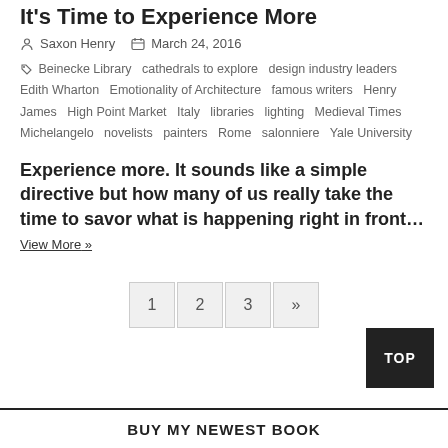It's Time to Experience More
Saxon Henry  March 24, 2016
Beinecke Library  cathedrals to explore  design industry leaders  Edith Wharton  Emotionality of Architecture  famous writers  Henry James  High Point Market  Italy  libraries  lighting  Medieval Times  Michelangelo  novelists  painters  Rome  salonniere  Yale University
Experience more. It sounds like a simple directive but how many of us really take the time to savor what is happening right in front…
View More »
1  2  3  »
TOP
BUY MY NEWEST BOOK